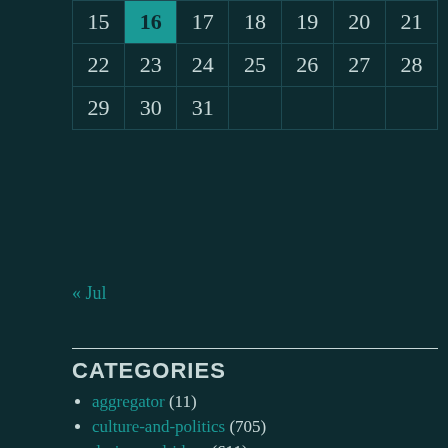| Su | Mo | Tu | We | Th | Fr | Sa |
| --- | --- | --- | --- | --- | --- | --- |
| 15 | 16 | 17 | 18 | 19 | 20 | 21 |
| 22 | 23 | 24 | 25 | 26 | 27 | 28 |
| 29 | 30 | 31 |  |  |  |  |
« Jul
CATEGORIES
aggregator (11)
culture-and-politics (705)
design-and-ideas (611)
home entertainment (88)
italic+mixing (191)
just-plain-life (710)